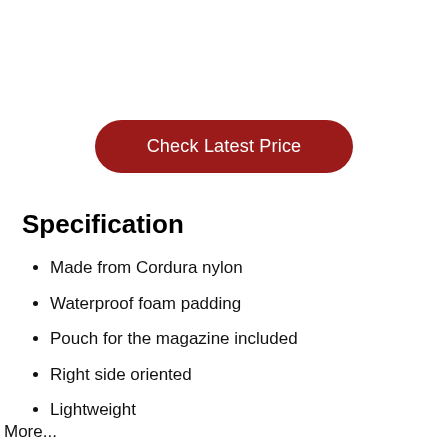[Figure (other): Red rounded button labeled 'Check Latest Price']
Specification
Made from Cordura nylon
Waterproof foam padding
Pouch for the magazine included
Right side oriented
Lightweight
More...